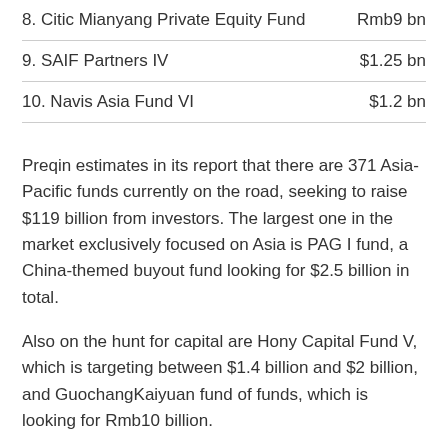| Fund | Amount |
| --- | --- |
| 8. Citic Mianyang Private Equity Fund | Rmb9 bn |
| 9. SAIF Partners IV | $1.25 bn |
| 10. Navis Asia Fund VI | $1.2 bn |
Preqin estimates in its report that there are 371 Asia-Pacific funds currently on the road, seeking to raise $119 billion from investors. The largest one in the market exclusively focused on Asia is PAG I fund, a China-themed buyout fund looking for $2.5 billion in total.
Also on the hunt for capital are Hony Capital Fund V, which is targeting between $1.4 billion and $2 billion, and GuochangKaiyuan fund of funds, which is looking for Rmb10 billion.